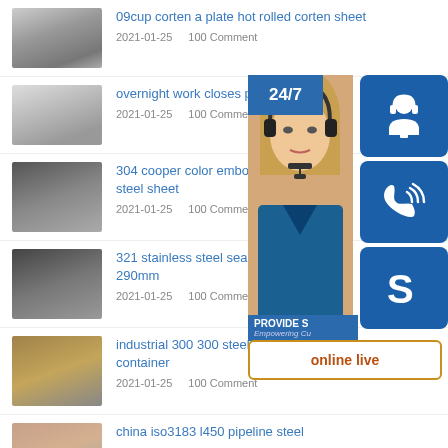09cup corten a plate hot rolled corten sheet
2021-01-25   100 Comment
overnight work closes part of i
2021-01-25   100 Comment
304 cooper color embossed mirror steel sheet
2021-01-25   100 Comment
321 stainless steel seamless pipe 290mm
2021-01-25   100 Comment
industrial 300 300 steel h beam for polyethylene container
2021-01-25   100 Comment
china iso3183 l450 pipeline steel
2021-01-25   100 Comment
[Figure (infographic): Customer support overlay on right side showing 24/7 support banner with female agent photo, headset icon, phone icon, Skype icon, and online live button]